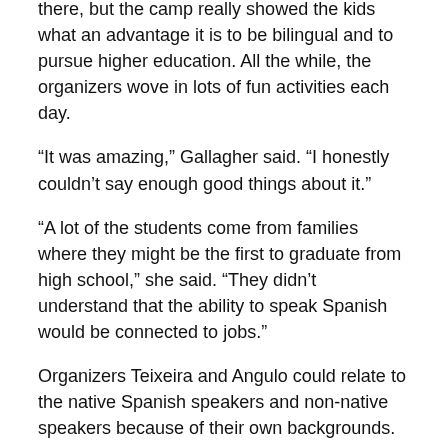there, but the camp really showed the kids what an advantage it is to be bilingual and to pursue higher education. All the while, the organizers wove in lots of fun activities each day.
“It was amazing,” Gallagher said. “I honestly couldn’t say enough good things about it.”
“A lot of the students come from families where they might be the first to graduate from high school,” she said. “They didn’t understand that the ability to speak Spanish would be connected to jobs.”
Organizers Teixeira and Angulo could relate to the native Spanish speakers and non-native speakers because of their own backgrounds.
Angulo grew up speaking only English but took Spanish in school and earned her master’s degree in Spanish from ESU in 2008. She has taught Spanish at Pocono Mountain School District and works periodically as an adjunct professor at ESU.
Teixeira, who teaches Spanish at Hackettstown High School,